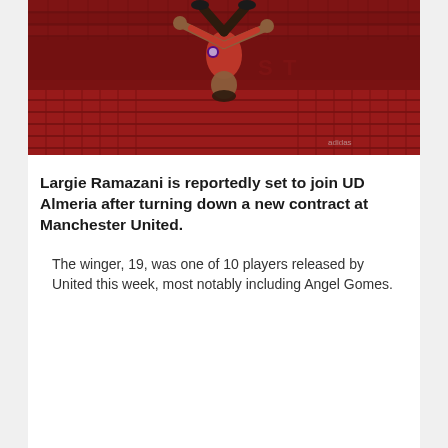[Figure (photo): A Manchester United footballer in a red jersey performing a backflip or acrobatic celebration inside a stadium with red seats visible in the background.]
Largie Ramazani is reportedly set to join UD Almeria after turning down a new contract at Manchester United.
The winger, 19, was one of 10 players released by United this week, most notably including Angel Gomes.